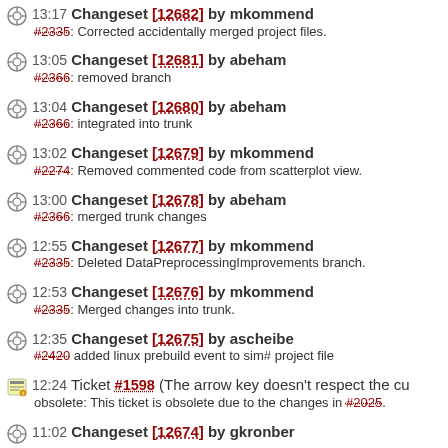13:17 Changeset [12682] by mkommend
#2335: Corrected accidentally merged project files.
13:05 Changeset [12681] by abeham
#2366: removed branch
13:04 Changeset [12680] by abeham
#2366: integrated into trunk
13:02 Changeset [12679] by mkommend
#2274: Removed commented code from scatterplot view.
13:00 Changeset [12678] by abeham
#2366: merged trunk changes
12:55 Changeset [12677] by mkommend
#2335: Deleted DataPreprocessingImprovements branch.
12:53 Changeset [12676] by mkommend
#2335: Merged changes into trunk.
12:35 Changeset [12675] by ascheibe
#2420 added linux prebuild event to sim# project file
12:24 Ticket #1598 (The arrow key doesn't respect the cu...
obsolete: This ticket is obsolete due to the changes in #2025.
11:02 Changeset [12674] by gkronber